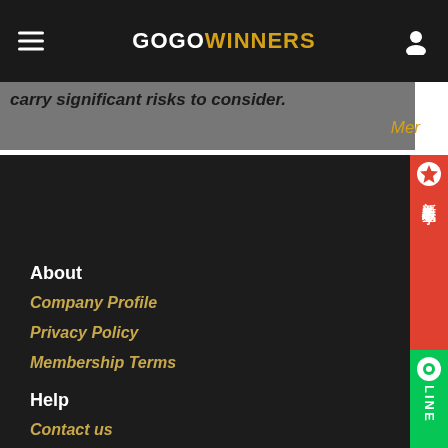GOGOWINNERS
...carry significant risks to consider.
Mer
About
Company Profile
Privacy Policy
Membership Terms
Help
Contact us
FAQ